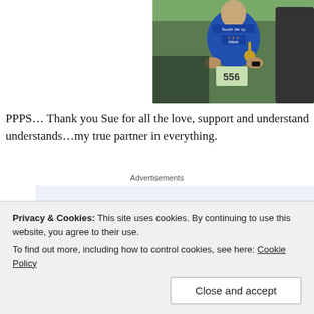[Figure (photo): A person wearing a blue athletic shirt reading 'South Jersey Athletic' with a race medal, sitting outdoors. Race bib number 556 visible.]
PPPS… Thank you Sue for all the love, support and understanding…my true partner in everything.
Advertisements
[Figure (screenshot): Advertisement showing partial text 'Build a writing habit. Po...']
Privacy & Cookies: This site uses cookies. By continuing to use this website, you agree to their use.
To find out more, including how to control cookies, see here: Cookie Policy
Close and accept